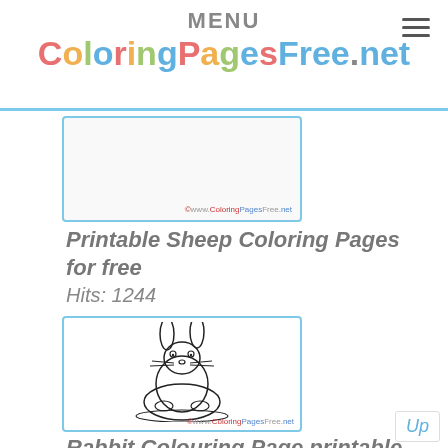MENU | ColoringPagesFree.net
[Figure (illustration): Partial view of a sheep coloring page card with ColoringPagesFree.net watermark]
Printable Sheep Coloring Pages for free
Hits: 1244
[Figure (illustration): A rabbit/bunny coloring page outline drawing showing a bunny sitting with whiskers and long ears, with ColoringPagesFree.net watermark]
Rabbit Colouring Page printable for